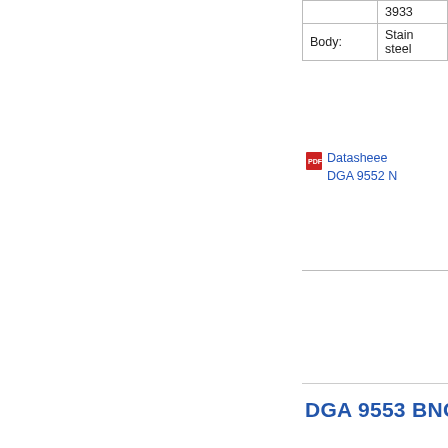| 3933 |
| Body: | Stain steel |
Datasheet DGA 9552 N
DGA 9553 BNC
DGA 9553 BN is a bidirectio attenuator, i.e the attenuatio and power capability specification valid for both directions. There is a lar variety of applications f this attenuato The measurin